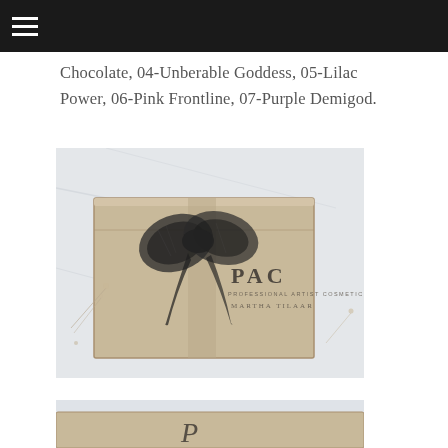Chocolate, 04-Unberable Goddess, 05-Lilac Power, 06-Pink Frontline, 07-Purple Demigod.
[Figure (photo): A beige/tan gift box branded with PAC (Professional Artist Cosmetics) Martha Tilaar logo, tied with a sheer black ribbon bow, placed on a white marble surface with dried flowers in the background.]
[Figure (photo): Partial view of another PAC branded item at the bottom of the page, mostly cropped.]